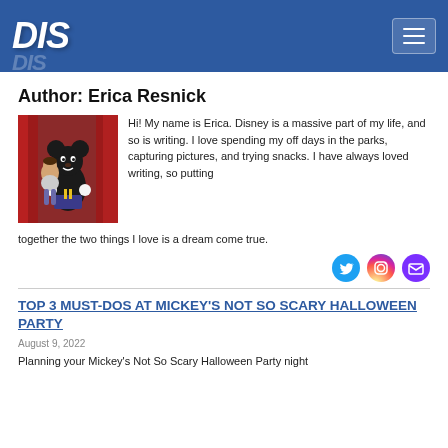DIS
Author: Erica Resnick
[Figure (photo): Photo of Erica Resnick posing with Mickey Mouse character in front of red curtain]
Hi! My name is Erica. Disney is a massive part of my life, and so is writing. I love spending my off days in the parks, capturing pictures, and trying snacks. I have always loved writing, so putting together the two things I love is a dream come true.
[Figure (other): Social media icons: Twitter (blue), Instagram (gradient), Email (purple)]
TOP 3 MUST-DOS AT MICKEY'S NOT SO SCARY HALLOWEEN PARTY
August 9, 2022
Planning your Mickey's Not So Scary Halloween Party night